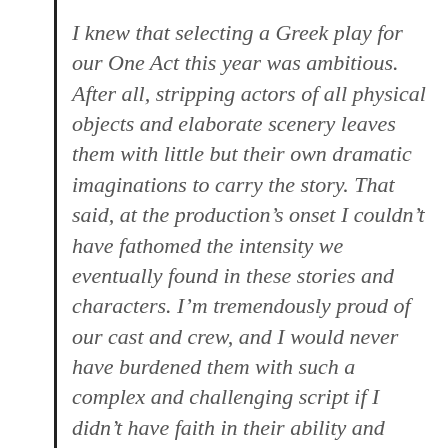I knew that selecting a Greek play for our One Act this year was ambitious. After all, stripping actors of all physical objects and elaborate scenery leaves them with little but their own dramatic imaginations to carry the story. That said, at the production's onset I couldn't have fathomed the intensity we eventually found in these stories and characters. I'm tremendously proud of our cast and crew, and I would never have burdened them with such a complex and challenging script if I didn't have faith in their ability and dedication.